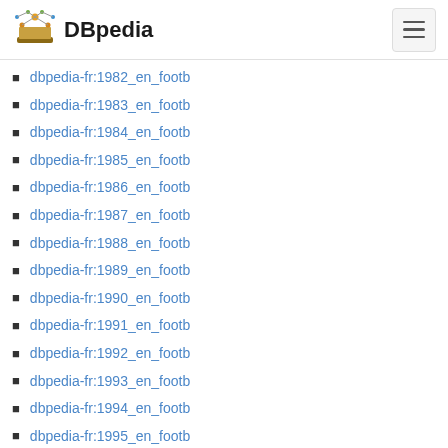DBpedia
dbpedia-fr:1982_en_footb
dbpedia-fr:1983_en_footb
dbpedia-fr:1984_en_footb
dbpedia-fr:1985_en_footb
dbpedia-fr:1986_en_footb
dbpedia-fr:1987_en_footb
dbpedia-fr:1988_en_footb
dbpedia-fr:1989_en_footb
dbpedia-fr:1990_en_footb
dbpedia-fr:1991_en_footb
dbpedia-fr:1992_en_footb
dbpedia-fr:1993_en_footb
dbpedia-fr:1994_en_footb
dbpedia-fr:1995_en_footb
dbpedia-fr:1996_en_footb
dbpedia-fr:1997_en_footb
dbpedia-fr:1998_en_footb